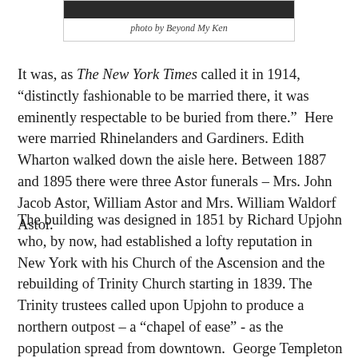[Figure (photo): Partial photo of a building or street scene, cropped at top]
photo by Beyond My Ken
It was, as The New York Times called it in 1914, “distinctly fashionable to be married there, it was eminently respectable to be buried from there.”  Here were married Rhinelanders and Gardiners. Edith Wharton walked down the aisle here. Between 1887 and 1895 there were three Astor funerals – Mrs. John Jacob Astor, William Astor and Mrs. William Waldorf Astor.
The building was designed in 1851 by Richard Upjohn who, by now, had established a lofty reputation in New York with his Church of the Ascension and the rebuilding of Trinity Church starting in 1839. The Trinity trustees called upon Upjohn to produce a northern outpost – a “chapel of ease” - as the population spread from downtown.  George Templeton Strong noted in 1848 that “The elders from our own church had left the church and…”